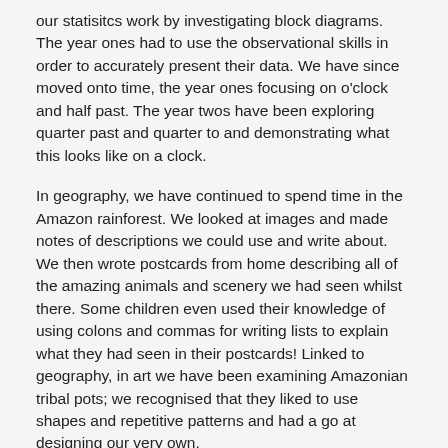our statisitcs work by investigating block diagrams. The year ones had to use the observational skills in order to accurately present their data. We have since moved onto time, the year ones focusing on o'clock and half past. The year twos have been exploring quarter past and quarter to and demonstrating what this looks like on a clock.
In geography, we have continued to spend time in the Amazon rainforest. We looked at images and made notes of descriptions we could use and write about. We then wrote postcards from home describing all of the amazing animals and scenery we had seen whilst there. Some children even used their knowledge of using colons and commas for writing lists to explain what they had seen in their postcards! Linked to geography, in art we have been examining Amazonian tribal pots; we recognised that they liked to use shapes and repetitive patterns and had a go at designing our very own.
In spellings, the year 2s have been exploring the suffix 'tion'. Mrs White even had us trying out new ways of